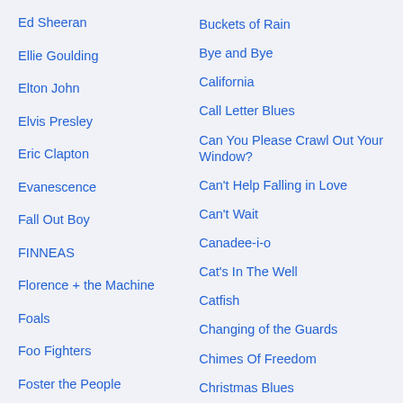Ed Sheeran
Ellie Goulding
Elton John
Elvis Presley
Eric Clapton
Evanescence
Fall Out Boy
FINNEAS
Florence + the Machine
Foals
Foo Fighters
Foster the People
Genesis
George Michael
Buckets of Rain
Bye and Bye
California
Call Letter Blues
Can You Please Crawl Out Your Window?
Can't Help Falling in Love
Can't Wait
Canadee-i-o
Cat's In The Well
Catfish
Changing of the Guards
Chimes Of Freedom
Christmas Blues